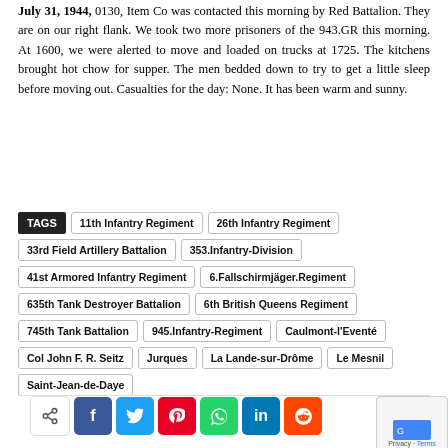July 31, 1944, 0130, Item Co was contacted this morning by Red Battalion. They are on our right flank. We took two more prisoners of the 943.GR this morning. At 1600, we were alerted to move and loaded on trucks at 1725. The kitchens brought hot chow for supper. The men bedded down to try to get a little sleep before moving out. Casualties for the day: None. It has been warm and sunny.
TAGS: 11th Infantry Regiment, 26th Infantry Regiment, 33rd Field Artillery Battalion, 353.Infantry-Division, 41st Armored Infantry Regiment, 6.Fallschirmjäger.Regiment, 635th Tank Destroyer Battalion, 6th British Queens Regiment, 745th Tank Battalion, 945.Infantry-Regiment, Caulmont-l'Eventé, Col John F. R. Seitz, Jurques, La Lande-sur-Drôme, Le Mesnil, Saint-Jean-de-Daye